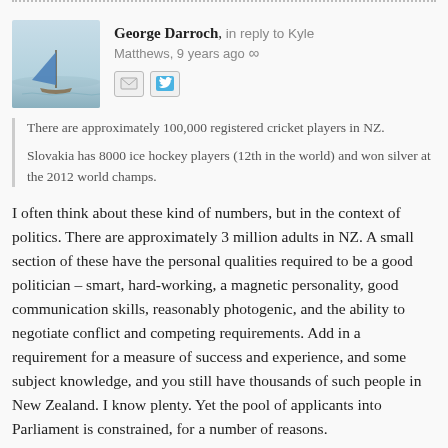...
George Darroch, in reply to Kyle Matthews, 9 years ago
[Figure (photo): Avatar photo showing a sailboat with blue sail on calm water]
There are approximately 100,000 registered cricket players in NZ.

Slovakia has 8000 ice hockey players (12th in the world) and won silver at the 2012 world champs.
I often think about these kind of numbers, but in the context of politics. There are approximately 3 million adults in NZ. A small section of these have the personal qualities required to be a good politician – smart, hard-working, a magnetic personality, good communication skills, reasonably photogenic, and the ability to negotiate conflict and competing requirements. Add in a requirement for a measure of success and experience, and some subject knowledge, and you still have thousands of such people in New Zealand. I know plenty. Yet the pool of applicants into Parliament is constrained, for a number of reasons.